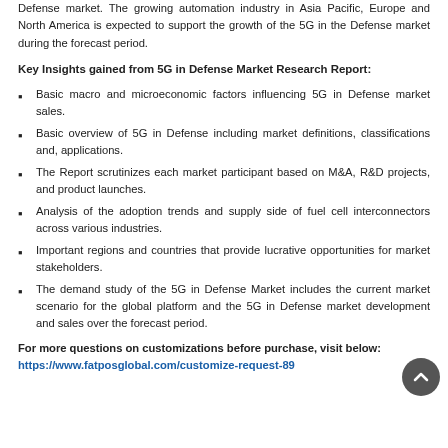Defense market. The growing automation industry in Asia Pacific, Europe and North America is expected to support the growth of the 5G in the Defense market during the forecast period.
Key Insights gained from 5G in Defense Market Research Report:
Basic macro and microeconomic factors influencing 5G in Defense market sales.
Basic overview of 5G in Defense including market definitions, classifications and, applications.
The Report scrutinizes each market participant based on M&A, R&D projects, and product launches.
Analysis of the adoption trends and supply side of fuel cell interconnectors across various industries.
Important regions and countries that provide lucrative opportunities for market stakeholders.
The demand study of the 5G in Defense Market includes the current market scenario for the global platform and the 5G in Defense market development and sales over the forecast period.
For more questions on customizations before purchase, visit below: https://www.fatposglobal.com/customize-request-89